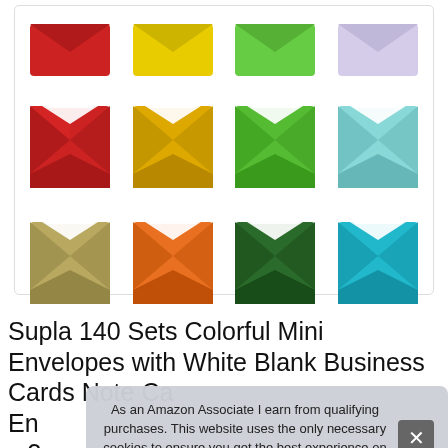[Figure (photo): Grid of colorful mini envelopes in various colors: red, yellow, green, light purple (top row flat), red, yellow/gold, green, cyan (second row open), tan/khaki, orange, dark green, cyan/teal (third row open)]
Supla 140 Sets Colorful Mini Envelopes with White Blank Business Cards Note Ca En x 3
As an Amazon Associate I earn from qualifying purchases. This website uses the only necessary cookies to ensure you get the best experience on our website. More information